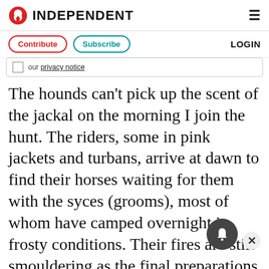INDEPENDENT
Contribute  Subscribe  LOGIN
our privacy notice
The hounds can't pick up the scent of the jackal on the morning I join the hunt. The riders, some in pink jackets and turbans, arrive at dawn to find their horses waiting for them with the syces (grooms), most of whom have camped overnight in frosty conditions. Their fires are still smouldering as the final preparations are made for the off, in a landscape more like the New Forest in Hampshire than anything you would imagine